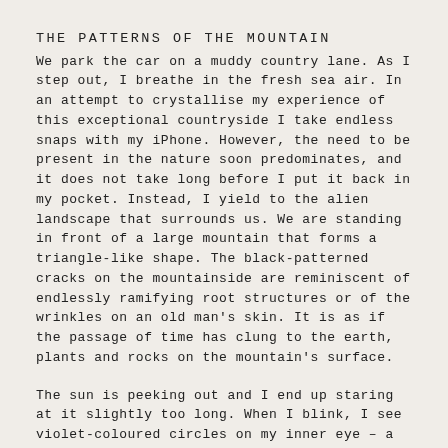THE PATTERNS OF THE MOUNTAIN
We park the car on a muddy country lane. As I step out, I breathe in the fresh sea air. In an attempt to crystallise my experience of this exceptional countryside I take endless snaps with my iPhone. However, the need to be present in the nature soon predominates, and it does not take long before I put it back in my pocket. Instead, I yield to the alien landscape that surrounds us. We are standing in front of a large mountain that forms a triangle-like shape. The black-patterned cracks on the mountainside are reminiscent of endlessly ramifying root structures or of the wrinkles on an old man's skin. It is as if the passage of time has clung to the earth, plants and rocks on the mountain's surface.
The sun is peeking out and I end up staring at it slightly too long. When I blink, I see violet-coloured circles on my inner eye – a so-called 'after-image': something the great poet and scientist, J.W von Goethe, explained for the first time in his Theory of